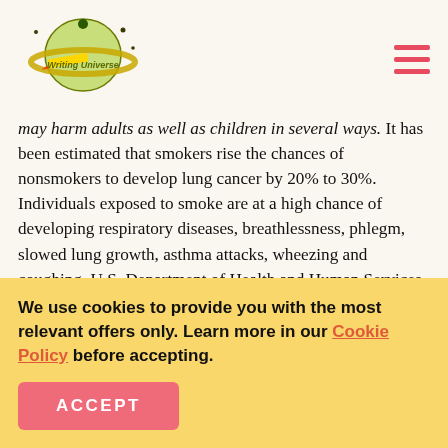Writing Universe
may harm adults as well as children in several ways. It has been estimated that smokers rise the chances of nonsmokers to develop lung cancer by 20% to 30%. Individuals exposed to smoke are at a high chance of developing respiratory diseases, breathlessness, phlegm, slowed lung growth, asthma attacks, wheezing and coughing. U.S. Department of Health and Human Services (34) states that in every year, over 400,000 deaths are caused by secondhand smoke. Infant death syndrome mostly attacks children
We use cookies to provide you with the most relevant offers only. Learn more in our Cookie Policy before accepting.
ACCEPT